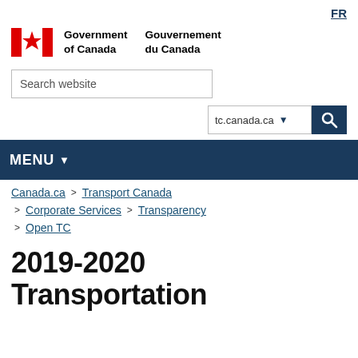FR
[Figure (logo): Government of Canada / Gouvernement du Canada logo with Canadian flag maple leaf icon]
Search website
tc.canada.ca
MENU
Canada.ca > Transport Canada > Corporate Services > Transparency > Open TC
2019-2020 Transportation